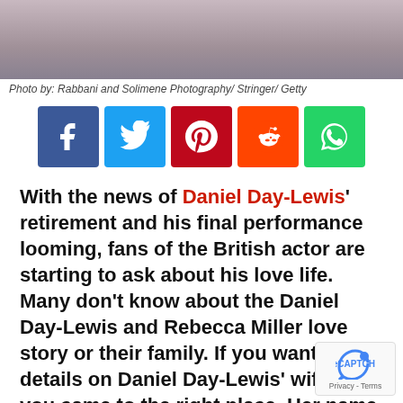[Figure (photo): Partial photo of a woman with dark hair, cropped at the top of the page]
Photo by: Rabbani and Solimene Photography/ Stringer/ Getty
[Figure (infographic): Social media sharing buttons: Facebook, Twitter, Pinterest, Reddit, WhatsApp]
With the news of Daniel Day-Lewis' retirement and his final performance looming, fans of the British actor are starting to ask about his love life. Many don't know about the Daniel Day-Lewis and Rebecca Miller love story or their family. If you want more details on Daniel Day-Lewis' wife, then you came to the right place. Her name is Rebecca Miller and though her name may seem